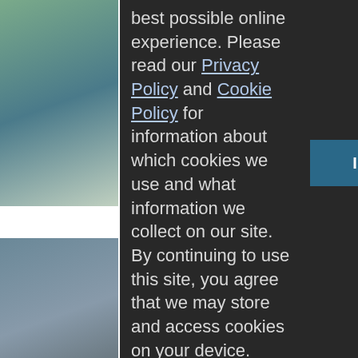[Figure (screenshot): Background website content partially visible on left and right sides behind a dark cookie consent modal overlay. Left side shows architectural/urban photos and colored banners (purple and green). Right side shows a garden/landscape photo and colored banners.]
best possible online experience. Please read our Privacy Policy and Cookie Policy for information about which cookies we use and what information we collect on our site. By continuing to use this site, you agree that we may store and access cookies on your device.
I AGREE